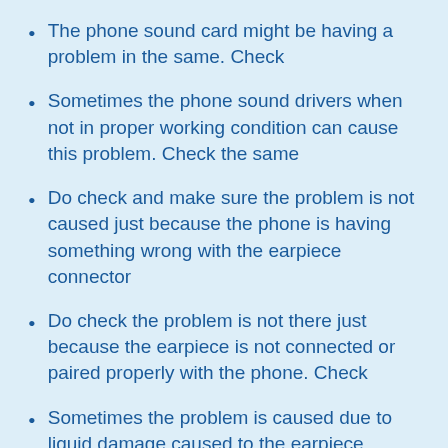The phone sound card might be having a problem in the same. Check
Sometimes the phone sound drivers when not in proper working condition can cause this problem. Check the same
Do check and make sure the problem is not caused just because the phone is having something wrong with the earpiece connector
Do check the problem is not there just because the earpiece is not connected or paired properly with the phone. Check
Sometimes the problem is caused due to liquid damage caused to the earpiece speakers due to body sweat
Check and make sure the problem is not there because you are playing low-quality music on